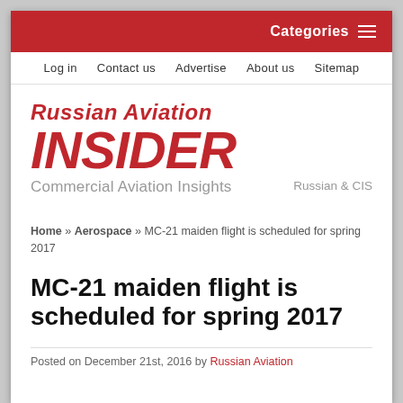Categories
Log in   Contact us   Advertise   About us   Sitemap
Russian Aviation INSIDER — Russian & CIS Commercial Aviation Insights
Home » Aerospace » MC-21 maiden flight is scheduled for spring 2017
MC-21 maiden flight is scheduled for spring 2017
Posted on December 21st, 2016 by Russian Aviation